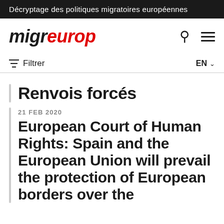Décryptage des politiques migratoires européennes
[Figure (logo): Migreurop website logo: 'migr' in black italic bold, 'europ' in red italic bold, with search and hamburger menu icons]
Filtrer   EN
Renvois forcés
21 FEB 2020
European Court of Human Rights: Spain and the European Union will prevail the protection of European borders over the...